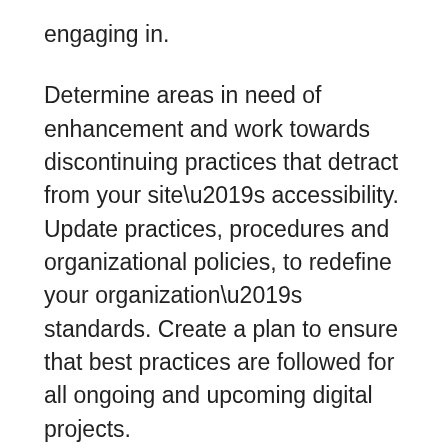engaging in.
Determine areas in need of enhancement and work towards discontinuing practices that detract from your site’s accessibility. Update practices, procedures and organizational policies, to redefine your organization’s standards. Create a plan to ensure that best practices are followed for all ongoing and upcoming digital projects.
Accessibility should be a priority throughout the entire design and development process. Attention to minor details and continuous testing will help offer a website that is usable to all.